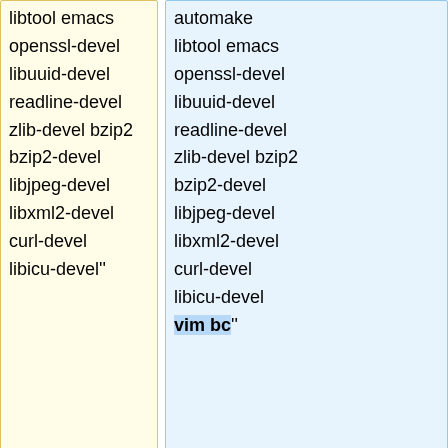libtool emacs openssl-devel libuuid-devel readline-devel zlib-devel bzip2 bzip2-devel libjpeg-devel libxml2-devel curl-devel libicu-devel''
automake libtool emacs openssl-devel libuuid-devel readline-devel zlib-devel bzip2 bzip2-devel libjpeg-devel libxml2-devel curl-devel libicu-devel vim bc''
'''Notes:'''
'''Notes:'''
Latest revision as of 16:48, 20 January 2022